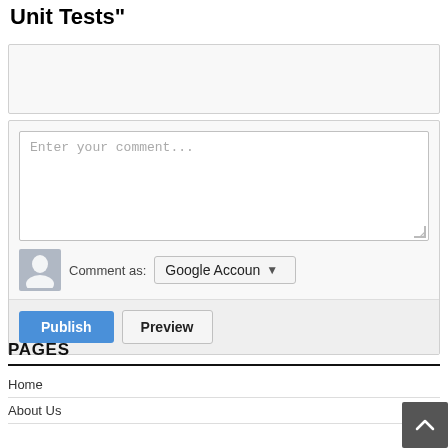Unit Tests"
[Figure (screenshot): Empty comment input box (top)]
[Figure (screenshot): Comment form with textarea placeholder 'Enter your comment...', 'Comment as: Google Account' dropdown, avatar icon, Publish and Preview buttons]
PAGES
Home
About Us